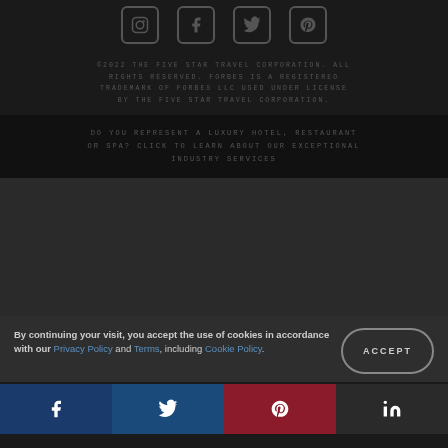[Figure (other): Social media icons: Instagram, Facebook, Twitter, Pinterest]
©2022 THE FIVE STAR TRAVEL CORPORATION. ALL RIGHTS RESERVED. FORBES IS A REGISTERED TRADEMARK OF FORBES LLC USED UNDER LICENSE BY THE FIVE STAR TRAVEL CORPORATION.
DO YOU REPRESENT A LUXURY HOTEL, RESTAURANT OR SPA? CLICK TO LEARN ABOUT OUR EXCEPTIONAL INDUSTRY SERVICES
By continuing your visit, you accept the use of cookies in accordance with our Privacy Policy and Terms, including Cookie Policy.
[Figure (other): Share buttons: Facebook, Twitter, Pinterest, LinkedIn]